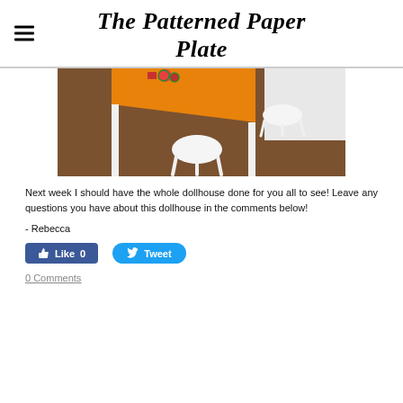The Patterned Paper Plate
[Figure (photo): Top-down view of a dollhouse kitchen scene with an orange table and two white round stools on a brown floor, with small decorative items on the table.]
Next week I should have the whole dollhouse done for you all to see! Leave any questions you have about this dollhouse in the comments below!
- Rebecca
[Figure (other): Facebook Like button showing 0 likes and Twitter Tweet button]
0 Comments